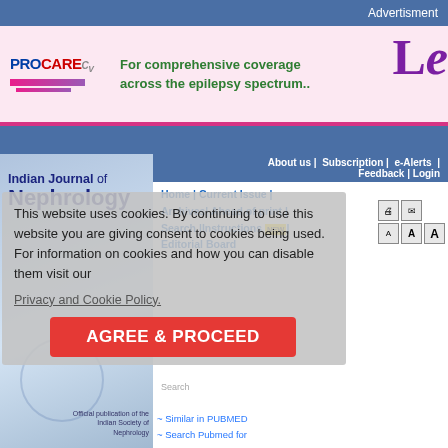Advertisment
[Figure (illustration): PROCARE CV advertisement banner with text: For comprehensive coverage across the epilepsy spectrum.. and Le logo]
About us | Subscription | e-Alerts | Feedback | Login
[Figure (logo): Indian Journal of Nephrology logo/masthead on blue gradient background]
Home | Current Issue | Archives| Ahead of print | Search |Instructions NEW| Editorial Board
This website uses cookies. By continuing to use this website you are giving consent to cookies being used. For information on cookies and how you can disable them visit our
Privacy and Cookie Policy.
AGREE & PROCEED
Similar in PUBMED
Search Pubmed for
Vairakkani R
Fernando M E